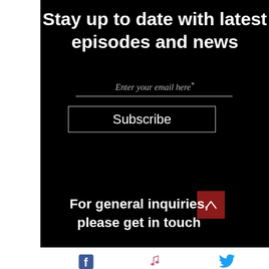Stay up to date with latest episodes and news
Enter your email here*
Subscribe
For general inquiries, please get in touch
[Figure (infographic): Footer social media icons: Facebook (blue 'f' logo), music note icon (pink), Twitter bird icon (blue)]